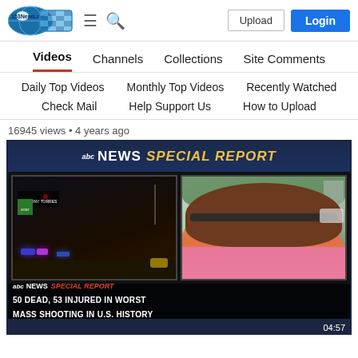153News.net — Upload | Login
Videos | Channels | Collections | Site Comments
Daily Top Videos  Monthly Top Videos  Recently Watched
Check Mail  Help Support Us  How to Upload
16945 views • 4 years ago
[Figure (screenshot): ABC News Special Report video thumbnail showing a night scene with emergency vehicles and flashing lights on the left, and a woman with brown hair and sunglasses being interviewed on the right. Lower-third text reads: 'abc NEWS SPECIAL REPORT' and '50 DEAD, 53 INJURED IN WORST MASS SHOOTING IN U.S. HISTORY'. Time code 04:57 shown at bottom right.]